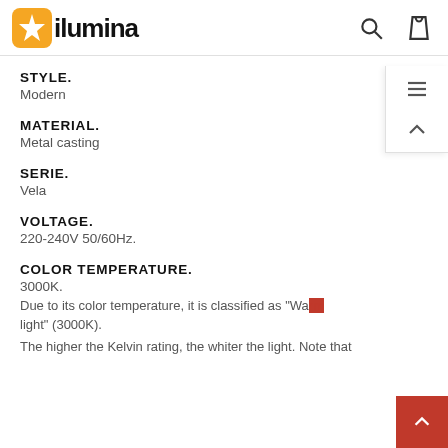ilumina
STYLE.
Modern
MATERIAL.
Metal casting
SERIE.
Vela
VOLTAGE.
220-240V 50/60Hz.
COLOR TEMPERATURE.
3000K.
Due to its color temperature, it is classified as "Warm light" (3000K).
The higher the Kelvin rating, the whiter the light. Note that